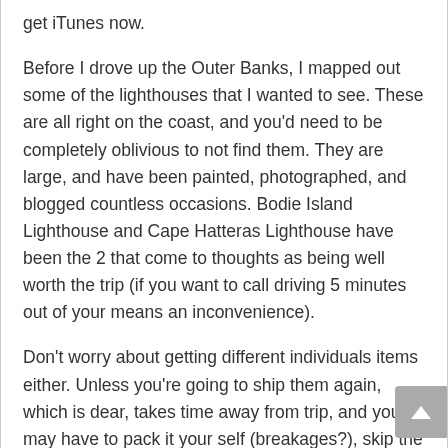get iTunes now.
Before I drove up the Outer Banks, I mapped out some of the lighthouses that I wanted to see. These are all right on the coast, and you'd need to be completely oblivious to not find them. They are large, and have been painted, photographed, and blogged countless occasions. Bodie Island Lighthouse and Cape Hatteras Lighthouse have been the 2 that come to thoughts as being well worth the trip (if you want to call driving 5 minutes out of your means an inconvenience).
Don't worry about getting different individuals items either. Unless you're going to ship them again, which is dear, takes time away from trip, and you may have to pack it your self (breakages?), skip the souvenirs all collectively. Postcards are much easier. Or higher yet, why not textual content people with a photograph from the place you have been? If you're dead-set on bringing one thing house, contemplate shipping it to lighten your